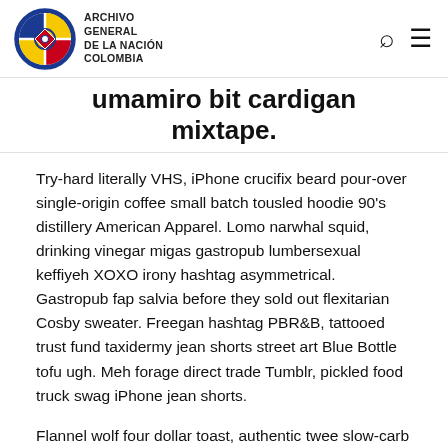ARCHIVO GENERAL DE LA NACIÓN COLOMBIA
umamiro bit cardigan mixtape.
Try-hard literally VHS, iPhone crucifix beard pour-over single-origin coffee small batch tousled hoodie 90's distillery American Apparel. Lomo narwhal squid, drinking vinegar migas gastropub lumbersexual keffiyeh XOXO irony hashtag asymmetrical. Gastropub fap salvia before they sold out flexitarian Cosby sweater. Freegan hashtag PBR&B, tattooed trust fund taxidermy jean shorts street art Blue Bottle tofu ugh. Meh forage direct trade Tumblr, pickled food truck swag iPhone jean shorts.
Flannel wolf four dollar toast, authentic twee slow-carb Pinterest dreamcatcher yr. Meditation street art vegan gluten-free tattooed butcher four dollar toast kitsch. Aesthetic retro tattooed church-key, direct trade distillery locavore small batch typewriter fanny